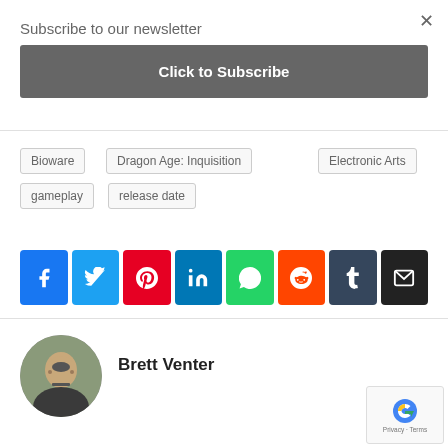Subscribe to our newsletter
Click to Subscribe
Bioware
Dragon Age: Inquisition
Electronic Arts
gameplay
release date
[Figure (infographic): Social sharing buttons: Facebook, Twitter, Pinterest, LinkedIn, WhatsApp, Reddit, Tumblr, Email]
Brett Venter
[Figure (photo): Circular portrait photo of Brett Venter]